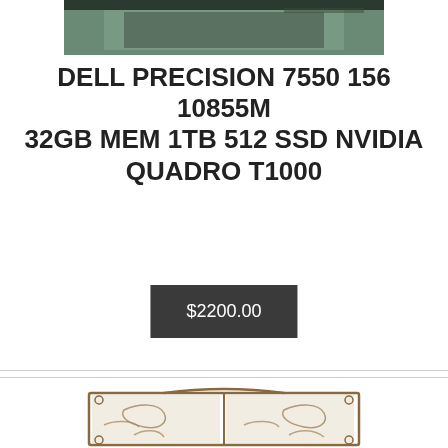[Figure (photo): Partial product photo at top, showing a laptop or workstation device against a dark/green background]
DELL PRECISION 7550 156 10855M 32GB MEM 1TB 512 SSD NVIDIA QUADRO T1000
$2200.00
[Figure (photo): Decorative metal fireplace screen with scrollwork design and two doors, bronze/golden finish]